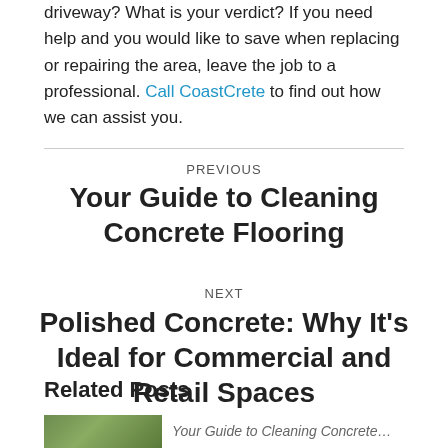driveway? What is your verdict? If you need help and you would like to save when replacing or repairing the area, leave the job to a professional. Call CoastCrete to find out how we can assist you.
PREVIOUS
Your Guide to Cleaning Concrete Flooring
NEXT
Polished Concrete: Why It's Ideal for Commercial and Retail Spaces
Related Posts
Your Guide to Cleaning Concrete…